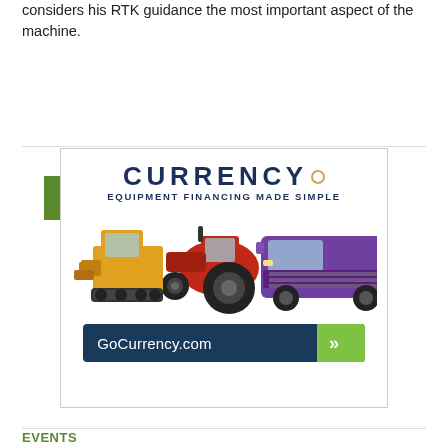considers his RTK guidance the most important aspect of the machine.
VIEW MORE
[Figure (illustration): Currency Equipment Financing Made Simple advertisement banner. Shows the Currency logo with tagline 'Equipment Financing Made Simple', images of a yellow skid steer, red tractor, and purple semi truck, and a call-to-action button reading GoCurrency.com with a green arrow.]
EVENTS